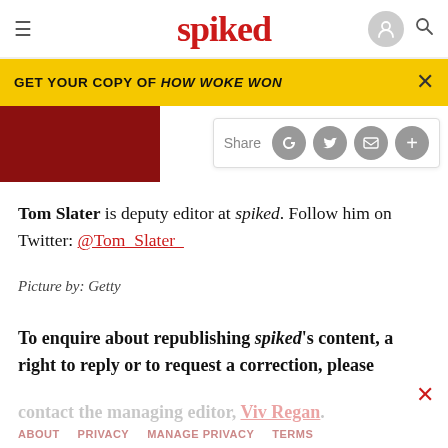spiked
GET YOUR COPY OF HOW WOKE WON
[Figure (photo): Red image placeholder, partial view of a photo]
Share
Tom Slater is deputy editor at spiked. Follow him on Twitter: @Tom_Slater_
Picture by: Getty
To enquire about republishing spiked's content, a right to reply or to request a correction, please contact the managing editor, Viv Regan.
ABOUT   PRIVACY   MANAGE PRIVACY   TERMS